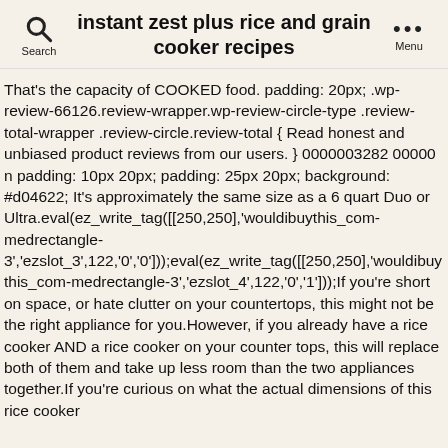instant zest plus rice and grain cooker recipes
That's the capacity of COOKED food. padding: 20px; .wp-review-66126.review-wrapper.wp-review-circle-type .review-total-wrapper .review-circle.review-total { Read honest and unbiased product reviews from our users. } 0000003282 00000 n padding: 10px 20px; padding: 25px 20px; background: #d04622; It's approximately the same size as a 6 quart Duo or Ultra.eval(ez_write_tag([[250,250],'wouldibuythis_com-medrectangle-3','ezslot_3',122,'0','0']));eval(ez_write_tag([[250,250],'wouldibuythis_com-medrectangle-3','ezslot_4',122,'0','1']));If you're short on space, or hate clutter on your countertops, this might not be the right appliance for you.However, if you already have a rice cooker AND a rice cooker on your counter tops, this will replace both of them and take up less room than the two appliances together.If you're curious on what the actual dimensions of this rice cooker